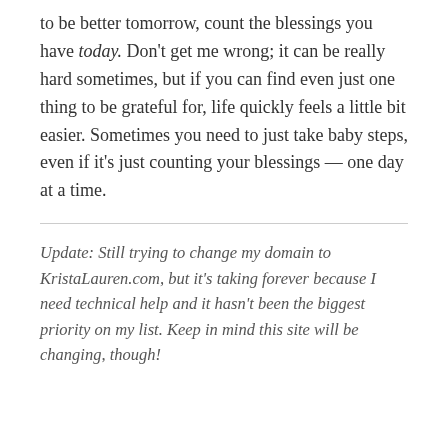to be better tomorrow, count the blessings you have today. Don't get me wrong; it can be really hard sometimes, but if you can find even just one thing to be grateful for, life quickly feels a little bit easier. Sometimes you need to just take baby steps, even if it's just counting your blessings — one day at a time.
Update: Still trying to change my domain to KristaLauren.com, but it's taking forever because I need technical help and it hasn't been the biggest priority on my list. Keep in mind this site will be changing, though!